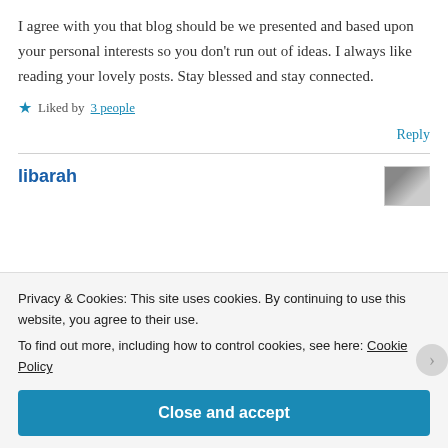I agree with you that blog should be we presented and based upon your personal interests so you don't run out of ideas. I always like reading your lovely posts. Stay blessed and stay connected.
★ Liked by 3 people
Reply
libarah
Privacy & Cookies: This site uses cookies. By continuing to use this website, you agree to their use.
To find out more, including how to control cookies, see here: Cookie Policy
Close and accept